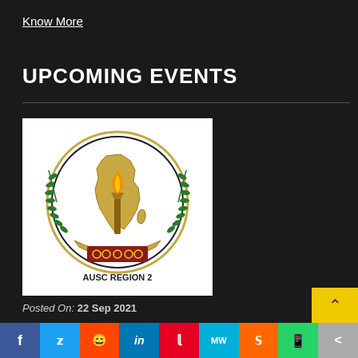Know More
UPCOMING EVENTS
[Figure (logo): AUSC Region 2 logo - circular emblem with African continent map, torch with flame, green laurel branches on sides, golden crescent base, and text AUSC REGION 2 at bottom]
Posted On: 22 Sep 2021
f  Twitter  Reddit  in  Pinterest  MW  Mix  WhatsApp  Share